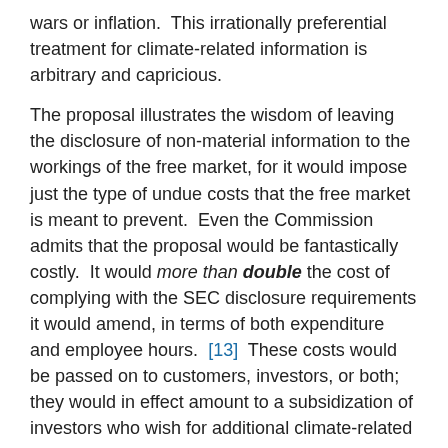wars or inflation.  This irrationally preferential treatment for climate-related information is arbitrary and capricious.
The proposal illustrates the wisdom of leaving the disclosure of non-material information to the workings of the free market, for it would impose just the type of undue costs that the free market is meant to prevent.  Even the Commission admits that the proposal would be fantastically costly.  It would more than double the cost of complying with the SEC disclosure requirements it would amend, in terms of both expenditure and employee hours. [13]  These costs would be passed on to customers, investors, or both; they would in effect amount to a subsidization of investors who wish for additional climate-related disclosures by investors who are not interested in such information and by the customers of registered companies.  Yet extraordinarily, the Commission never finds that the benefits it asserts the proposal would achieve are worth these massive costs.  Indeed, the Commission